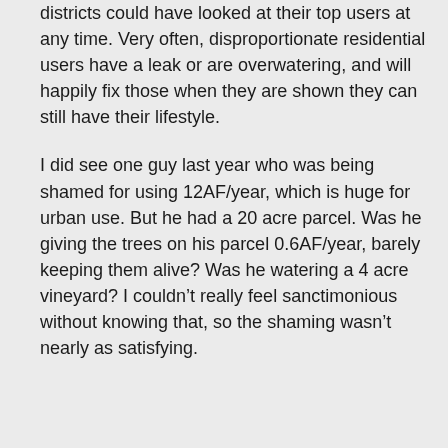districts could have looked at their top users at any time. Very often, disproportionate residential users have a leak or are overwatering, and will happily fix those when they are shown they can still have their lifestyle.
I did see one guy last year who was being shamed for using 12AF/year, which is huge for urban use. But he had a 20 acre parcel. Was he giving the trees on his parcel 0.6AF/year, barely keeping them alive? Was he watering a 4 acre vineyard? I couldn’t really feel sanctimonious without knowing that, so the shaming wasn’t nearly as satisfying.